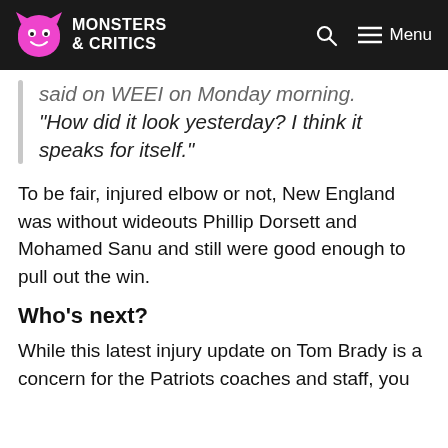MONSTERS & CRITICS
said on WEEI on Monday morning. “How did it look yesterday? I think it speaks for itself.”
To be fair, injured elbow or not, New England was without wideouts Phillip Dorsett and Mohamed Sanu and still were good enough to pull out the win.
Who’s next?
While this latest injury update on Tom Brady is a concern for the Patriots coaches and staff, you